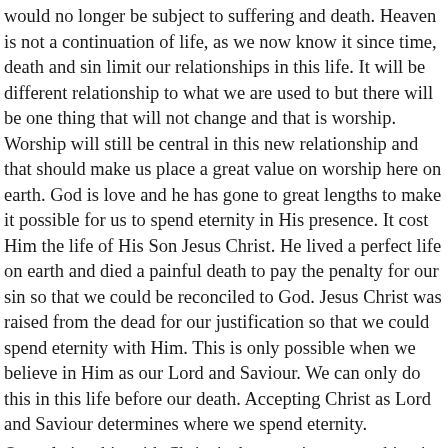would no longer be subject to suffering and death. Heaven is not a continuation of life, as we now know it since time, death and sin limit our relationships in this life. It will be different relationship to what we are used to but there will be one thing that will not change and that is worship. Worship will still be central in this new relationship and that should make us place a great value on worship here on earth. God is love and he has gone to great lengths to make it possible for us to spend eternity in His presence. It cost Him the life of His Son Jesus Christ. He lived a perfect life on earth and died a painful death to pay the penalty for our sin so that we could be reconciled to God. Jesus Christ was raised from the dead for our justification so that we could spend eternity with Him. This is only possible when we believe in Him as our Lord and Saviour. We can only do this in this life before our death. Accepting Christ as Lord and Saviour determines where we spend eternity.
Our relationship with Christ is the most important thing in life. If we learn to love and trust Christ now, we will be preparing for the age to come as our relationship with Christ results in godly attitudes and godly actions. This relationship should draw us to His Word, prayer,